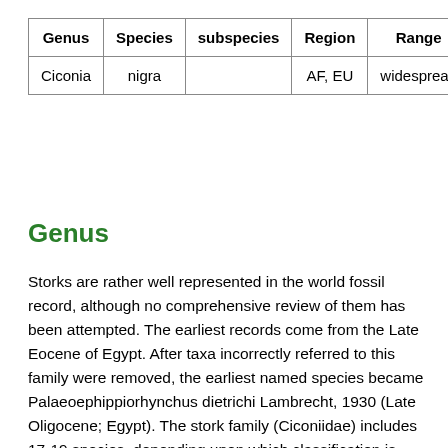| Genus | Species | subspecies | Region | Range |
| --- | --- | --- | --- | --- |
| Ciconia | nigra |  | AF, EU | widespread |
Genus
Storks are rather well represented in the world fossil record, although no comprehensive review of them has been attempted. The earliest records come from the Late Eocene of Egypt. After taxa incorrectly referred to this family were removed, the earliest named species became Palaeoephippiorhynchus dietrichi Lambrecht, 1930 (Late Oligocene; Egypt). The stork family (Ciconiidae) includes 17-19 species, depending upon which classification is followed. They are widely distributed, mainly in the Old World Tropics. Being large, conspicuous, and easily observed, storks are well known birds throughout their range. Several populations are threatened or endangered. The seven species of “typical” storks of the genus ciconia are all somewhat similar, with